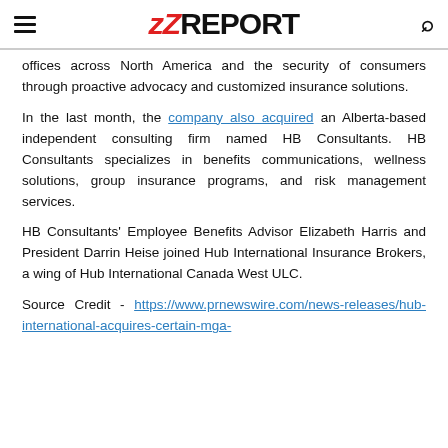zZREPORT
offices across North America and the security of consumers through proactive advocacy and customized insurance solutions.
In the last month, the company also acquired an Alberta-based independent consulting firm named HB Consultants. HB Consultants specializes in benefits communications, wellness solutions, group insurance programs, and risk management services.
HB Consultants' Employee Benefits Advisor Elizabeth Harris and President Darrin Heise joined Hub International Insurance Brokers, a wing of Hub International Canada West ULC.
Source Credit - https://www.prnewswire.com/news-releases/hub-international-acquires-certain-mga-